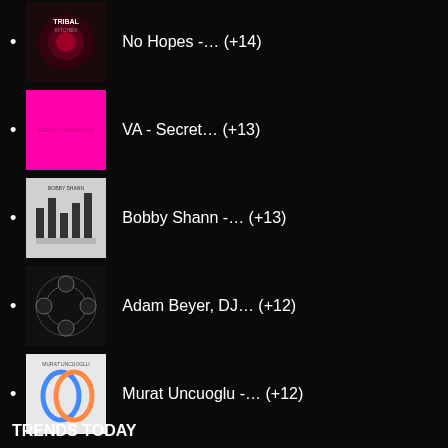No Hopes -… (+14)
VA - Secret… (+13)
Bobby Shann -… (+13)
Adam Beyer, DJ… (+12)
Murat Uncuoglu -… (+12)
Hardwell - GODD (+10)
Grooveyard - Mary… (+9)
TRENDS TODAY